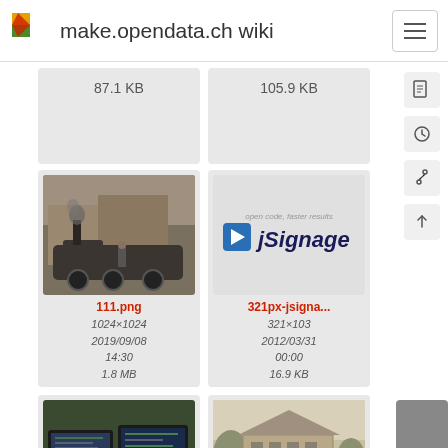make.opendata.ch wiki
87.1 KB
105.9 KB
[Figure (photo): Thumbnail of 111.png - steam locomotive train at station]
111.png
1024×1024
2019/09/08 14:30
1.8 MB
[Figure (logo): Thumbnail of 321px-jsigna... - jSignage logo: open code, faster results]
321px-jsigna...
321×103
2012/03/31 00:00
16.9 KB
[Figure (photo): Thumbnail of 2015-02-28_1... - laptop on desk]
2015-02-28_1...
[Figure (photo): Thumbnail of 1531233.jpg - historic building]
1531233.jpg